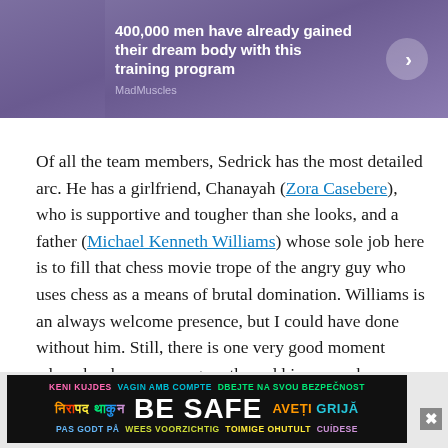[Figure (screenshot): Purple advertisement banner: '400,000 men have already gained their dream body with this training program' with MadMuscles branding and a circular arrow button]
Of all the team members, Sedrick has the most detailed arc. He has a girlfriend, Chanayah (Zora Casebere), who is supportive and tougher than she looks, and a father (Michael Kenneth Williams) whose sole job here is to fill that chess movie trope of the angry guy who uses chess as a means of brutal domination. Williams is an always welcome presence, but I could have done without him. Still, there is one very good moment where he shows some growth, and his son makes a snide comment that he silently acknowledges as being right.
[Figure (screenshot): Dark advertisement banner with multilingual 'BE SAFE' text in various colors, with a close button]